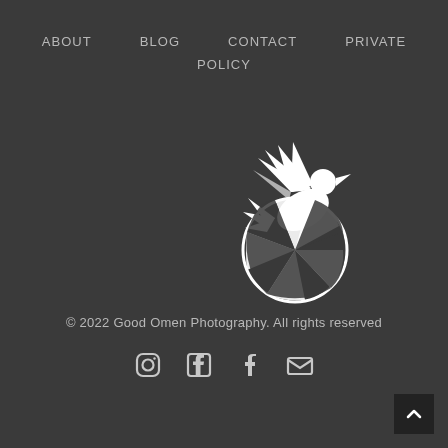ABOUT   BLOG   CONTACT   PRIVATE POLICY
[Figure (logo): Good Omen Photography logo: white silhouette of a bird in flight above a camera aperture/shutter circle on dark background]
© 2022 Good Omen Photography. All rights reserved
[Figure (infographic): Social media icons row: Instagram, Facebook, Tumblr, Email/envelope icons in white outline style]
[Figure (other): Back to top button: dark square with upward chevron arrow, bottom right corner]